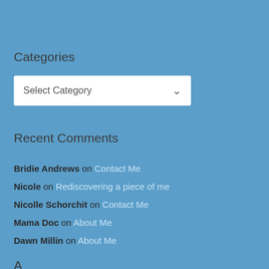Categories
Select Category
Recent Comments
Bridie Andrews on Contact Me
Nicole on Rediscovering a piece of me
Nicolle Schorchit on Contact Me
Mama Doc on About Me
Dawn Millin on About Me